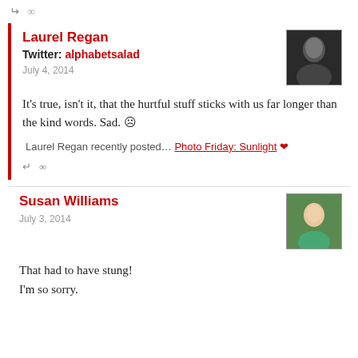↵ ∞
Laurel Regan
Twitter: alphabetsalad
July 4, 2014
[Figure (photo): Black and white portrait photo of a person]
It's true, isn't it, that the hurtful stuff sticks with us far longer than the kind words. Sad. 🙁
Laurel Regan recently posted… Photo Friday: Sunlight 💗
↵ ∞
Susan Williams
July 3, 2014
[Figure (photo): Color portrait photo of a smiling woman outdoors]
That had to have stung!
I'm so sorry.